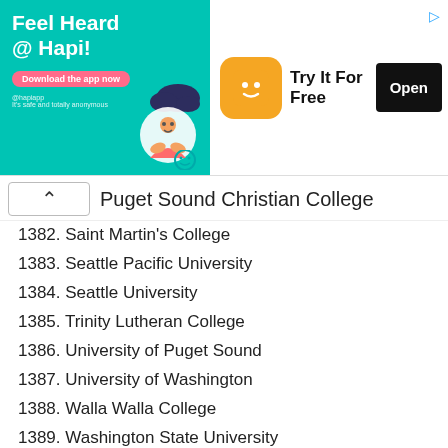[Figure (illustration): Advertisement banner for Hapi app: teal/green background with 'Feel Heard @ Hapi!' headline, a download button, illustration of person with cloud above head, app icon, 'Try It For Free' text, and 'Open' button]
Puget Sound Christian College
1382. Saint Martin's College
1383. Seattle Pacific University
1384. Seattle University
1385. Trinity Lutheran College
1386. University of Puget Sound
1387. University of Washington
1388. Walla Walla College
1389. Washington State University
1390. Western Washington University
1391. Whitman College
1392. Whitworth College
West Virginia
These are the colleges in the state of West Virginia that have